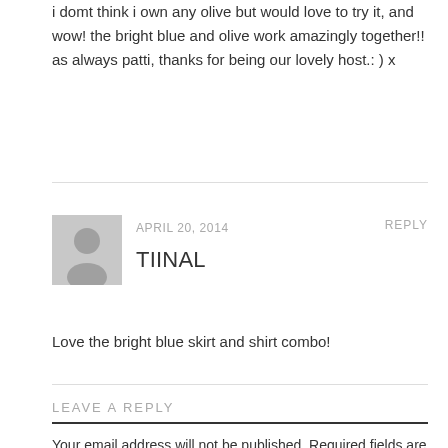i domt think i own any olive but would love to try it, and wow! the bright blue and olive work amazingly together!! as always patti, thanks for being our lovely host.: ) x
APRIL 20, 2014
REPLY
[Figure (illustration): Generic user avatar placeholder with silhouette figure on grey background]
TIINAL
Love the bright blue skirt and shirt combo!
LEAVE A REPLY
Your email address will not be published. Required fields are marked *
COMMENT